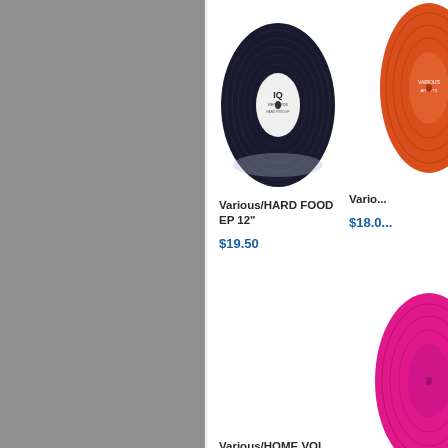[Figure (photo): Gray sidebar panel on left side of page]
[Figure (photo): Vinyl record (black) with white label reading IQ Records - Various/HARD FOOD EP 12 inch]
Various/HARD FOOD EP 12"
$19.50
[Figure (photo): Partial orange vinyl record visible at top right]
Vario...
$18.0...
[Figure (photo): Partial pink/magenta vinyl record visible at bottom right]
Various/HOME VOL. 1 DLP
$37.50
Vario...
$19.5...